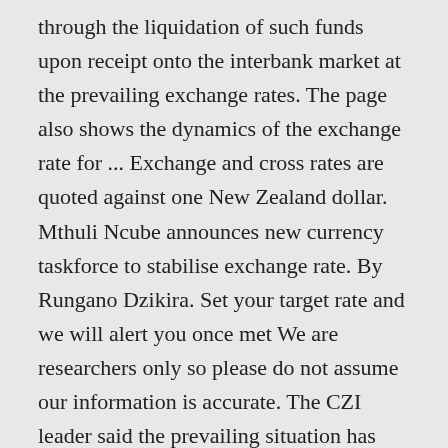through the liquidation of such funds upon receipt onto the interbank market at the prevailing exchange rates. The page also shows the dynamics of the exchange rate for ... Exchange and cross rates are quoted against one New Zealand dollar. Mthuli Ncube announces new currency taskforce to stabilise exchange rate. By Rungano Dzikira. Set your target rate and we will alert you once met We are researchers only so please do not assume our information is accurate. The CZI leader said the prevailing situation has left firms without option but to use the parallel market to procure the foreign currency they need to import critical inputs such as raw materials and machinery. the cost of which the businesses